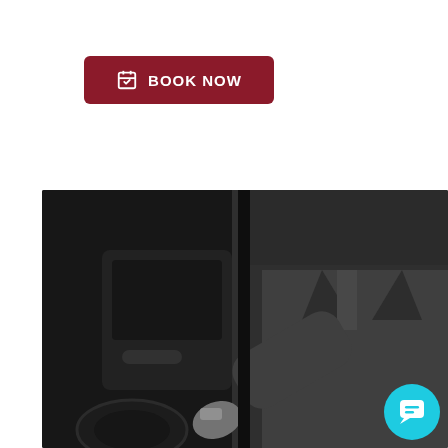[Figure (other): Red button with calendar icon and text BOOK NOW]
[Figure (other): Black button with phone icon and text CALL: (877) 3662421]
[Figure (photo): Black and white photo of a chauffeur in a suit opening or closing a luxury car door, with a cyan chat widget in the bottom right corner]